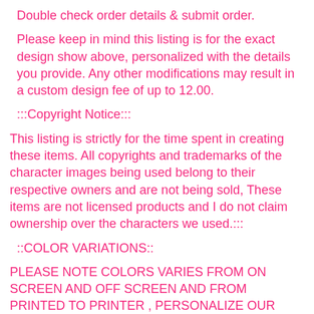Double check order details & submit order.
Please keep in mind this listing is for the exact design show above, personalized with the details you provide. Any other modifications may result in a custom design fee of up to 12.00.
:::Copyright Notice:::
This listing is strictly for the time spent in creating these items. All copyrights and trademarks of the character images being used belong to their respective owners and are not being sold, These items are not licensed products and I do not claim ownership over the characters we used.:::
::COLOR VARIATIONS::
PLEASE NOTE COLORS VARIES FROM ON SCREEN AND OFF SCREEN AND FROM PRINTED TO PRINTER , PERSONALIZE OUR PARTY IS NOT RESPONSIBLE FOR COLOR VARIATIONS.